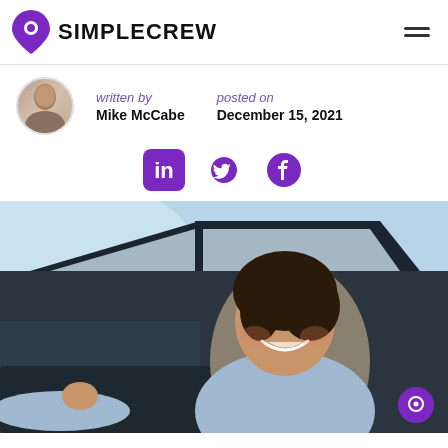SIMPLECREW
written by Mike McCabe | posted on December 15, 2021
[Figure (logo): LinkedIn, Twitter, and Facebook social media icons in purple]
[Figure (photo): Young smiling woman sitting in driver seat of a car, looking toward camera, wearing a light blue long-sleeve top]